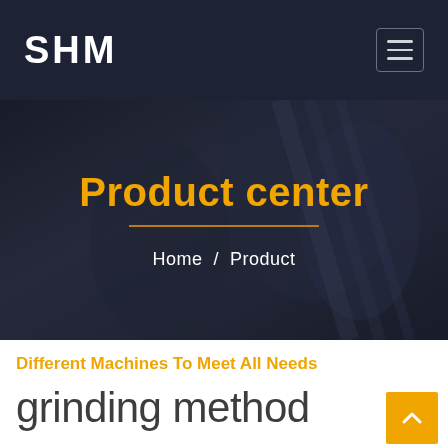SHM
Product center
Home / Product
Different Machines To Meet All Needs
grinding method